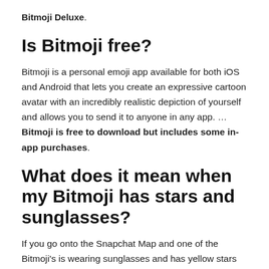Bitmoji Deluxe.
Is Bitmoji free?
Bitmoji is a personal emoji app available for both iOS and Android that lets you create an expressive cartoon avatar with an incredibly realistic depiction of yourself and allows you to send it to anyone in any app. … Bitmoji is free to download but includes some in-app purchases.
What does it mean when my Bitmoji has stars and sunglasses?
If you go onto the Snapchat Map and one of the Bitmoji's is wearing sunglasses and has yellow stars around them, it means that person uses Snap Maps very frequently.